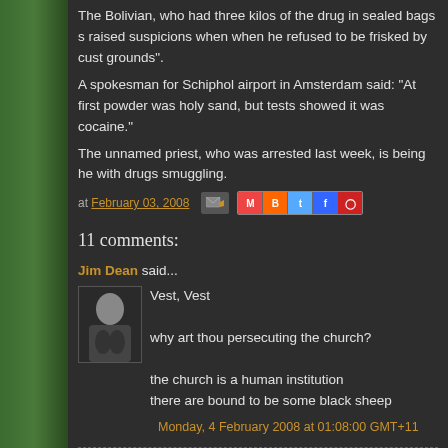The Bolivian, who had three kilos of the drug in sealed bags s raised suspicions when when he refused to be frisked by cust grounds".
A spokesman for Schiphol airport in Amsterdam said: "At first powder was holy sand, but tests showed it was cocaine."
The unnamed priest, who was arrested last week, is being he with drugs smuggling.
at February 03, 2008
11 comments:
Jim Dean said...
Vest, Vest

why art thou persecuting the church?

the church is a human institution
there are bound to be some black sheep
Monday, 4 February 2008 at 01:08:00 GMT+11